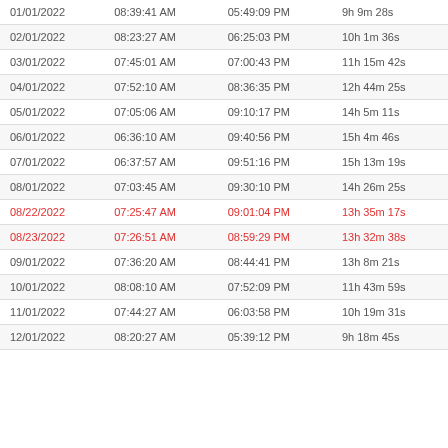| 01/01/2022 | 08:39:41 AM | 05:49:09 PM | 9h 9m 28s |
| 02/01/2022 | 08:23:27 AM | 06:25:03 PM | 10h 1m 36s |
| 03/01/2022 | 07:45:01 AM | 07:00:43 PM | 11h 15m 42s |
| 04/01/2022 | 07:52:10 AM | 08:36:35 PM | 12h 44m 25s |
| 05/01/2022 | 07:05:06 AM | 09:10:17 PM | 14h 5m 11s |
| 06/01/2022 | 06:36:10 AM | 09:40:56 PM | 15h 4m 46s |
| 07/01/2022 | 06:37:57 AM | 09:51:16 PM | 15h 13m 19s |
| 08/01/2022 | 07:03:45 AM | 09:30:10 PM | 14h 26m 25s |
| 08/22/2022 | 07:25:47 AM | 09:01:04 PM | 13h 35m 17s |
| 08/23/2022 | 07:26:51 AM | 08:59:29 PM | 13h 32m 38s |
| 09/01/2022 | 07:36:20 AM | 08:44:41 PM | 13h 8m 21s |
| 10/01/2022 | 08:08:10 AM | 07:52:09 PM | 11h 43m 59s |
| 11/01/2022 | 07:44:27 AM | 06:03:58 PM | 10h 19m 31s |
| 12/01/2022 | 08:20:27 AM | 05:39:12 PM | 9h 18m 45s |